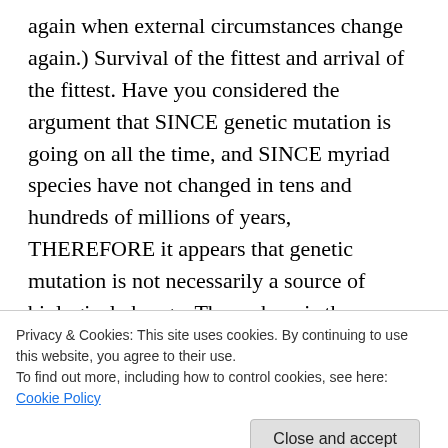again when external circumstances change again.) Survival of the fittest and arrival of the fittest. Have you considered the argument that SINCE genetic mutation is going on all the time, and SINCE myriad species have not changed in tens and hundreds of millions of years, THEREFORE it appears that genetic mutation is not necessarily a source of biological change. Then where is the mechanism for speciation? I don't think that evolutionists have anything up their sleeves as an alternative to genetic
Privacy & Cookies: This site uses cookies. By continuing to use this website, you agree to their use.
To find out more, including how to control cookies, see here: Cookie Policy
Close and accept
stovebe09653 on May 9, 2009 at 6:09 pm